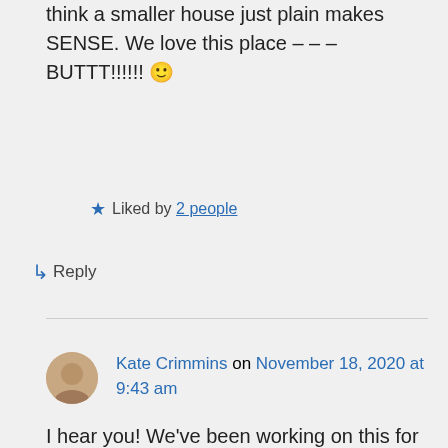think a smaller house just plain makes SENSE. We love this place – – – BUTTT!!!!!! 🙂
★ Liked by 2 people
↳ Reply
Kate Crimmins on November 18, 2020 at 9:43 am
I hear you! We've been working on this for years. We looked at a lot of homes before settling on this one. Some needed extensive renovations. There were a lot of homes that fit our #90...